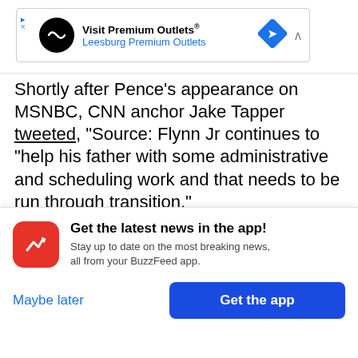[Figure (other): Advertisement banner for Visit Premium Outlets - Leesburg Premium Outlets with logo, blue diamond arrow icon, and collapse chevron]
Shortly after Pence's appearance on MSNBC, CNN anchor Jake Tapper tweeted, "Source: Flynn Jr continues to "help his father with some administrative and scheduling work and that needs to be run through transition."
Later on, Trump's communications director Jason Miller said that the younger Flynn had been helping
[Figure (other): BuzzFeed app notification prompt with red rounded icon showing white trending arrow, title 'Get the latest news in the app!', subtitle 'Stay up to date on the most breaking news, all from your BuzzFeed app.', 'Maybe later' link and 'Get the app' blue button]